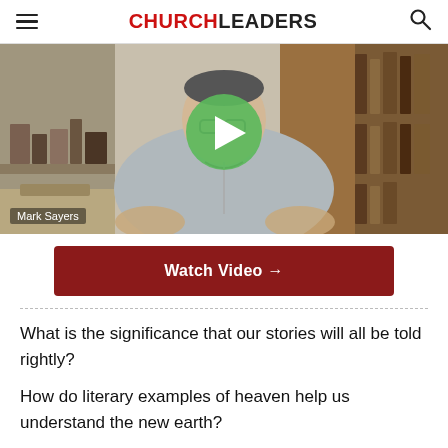CHURCHLEADERS
[Figure (photo): Video thumbnail showing a man (Mark Sayers) sitting at a desk with bookshelves in the background. A large green play button is overlaid in the center. A label reading 'Mark Sayers' appears in the lower left corner.]
Watch Video →
What is the significance that our stories will all be told rightly?
How do literary examples of heaven help us understand the new earth?